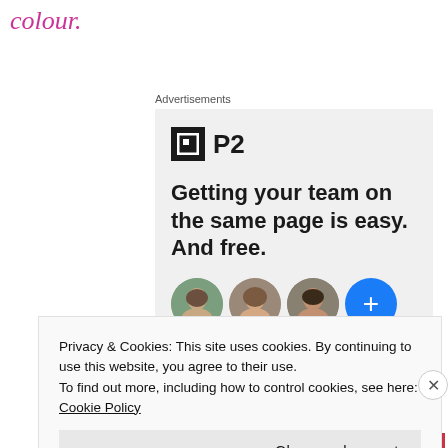colour.
Advertisements
[Figure (screenshot): P2 advertisement banner showing logo, headline 'Getting your team on the same page is easy. And free.' with circular avatar photos below]
Privacy & Cookies: This site uses cookies. By continuing to use this website, you agree to their use.
To find out more, including how to control cookies, see here: Cookie Policy
Close and accept